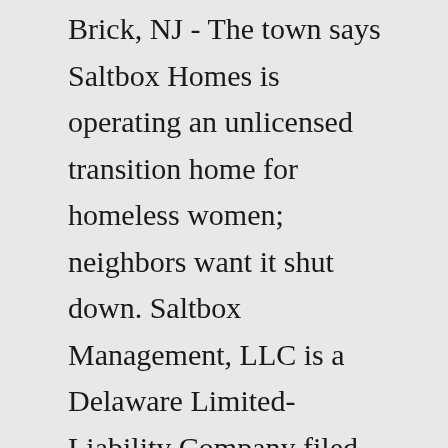Brick, NJ - The town says Saltbox Homes is operating an unlicensed transition home for homeless women; neighbors want it shut down. Saltbox Management, LLC is a Delaware Limited-Liability Company filed On October 26, 2020. The company's filing status is listed as Active and its File Number is 3976774. The Registered Agent on file for this company is The Corporation Trust Company and is located at Corporation Trust Center 1209 Orange St, Wilmington,